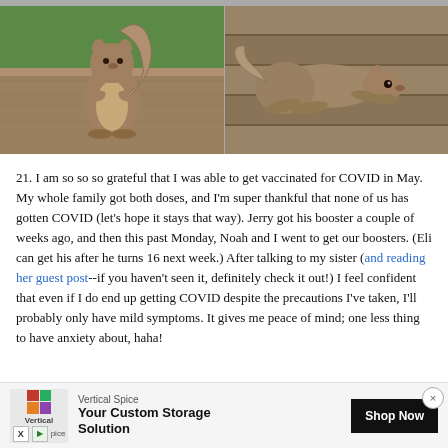[Figure (photo): Two side-by-side photos of a squirrel. Left photo labeled '4/16' shows a chubby squirrel sitting upright on a wooden railing with green grass background. Right photo labeled '5/3' shows the same squirrel lying flat/stretched on a wooden deck.]
21. I am so so so grateful that I was able to get vaccinated for COVID in May. My whole family got both doses, and I'm super thankful that none of us has gotten COVID (let's hope it stays that way). Jerry got his booster a couple of weeks ago, and then this past Monday, Noah and I went to get our boosters. (Eli can get his after he turns 16 next week.) After talking to my sister (and reading her guest post--if you haven't seen it, definitely check it out!) I feel confident that even if I do end up getting COVID despite the precautions I've taken, I'll probably only have mild symptoms. It gives me peace of mind; one less thing to have anxiety about, haha!
[Figure (other): Advertisement banner for Vertical Spice: 'Your Custom Storage Solution' with Shop Now button]